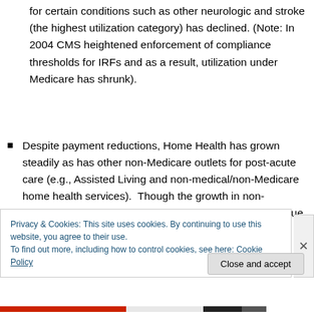for certain conditions such as other neurologic and stroke (the highest utilization category) has declined. (Note: In 2004 CMS heightened enforcement of compliance thresholds for IRFs and as a result, utilization under Medicare has shrunk).
Despite payment reductions, Home Health has grown steadily as has other non-Medicare outlets for post-acute care (e.g., Assisted Living and non-medical/non-Medicare home health services).  Though the growth in non-Medicare post-acute services has caused some alarm due to lax regulations, CMS sees this trend
Privacy & Cookies: This site uses cookies. By continuing to use this website, you agree to their use.
To find out more, including how to control cookies, see here: Cookie Policy
Close and accept